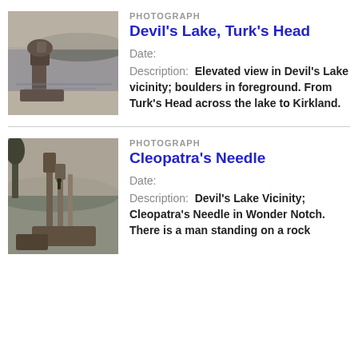[Figure (photo): Black and white photograph of a balanced rock formation at Devil's Lake with water and hills in the background.]
PHOTOGRAPH
Devil's Lake, Turk's Head
Date:
Description:  Elevated view in Devil's Lake vicinity; boulders in foreground. From Turk's Head across the lake to Kirkland.
[Figure (photo): Black and white photograph of tall rock spires at Cleopatra's Needle in Wonder Notch with trees and hills visible.]
PHOTOGRAPH
Cleopatra's Needle
Date:
Description:  Devil's Lake Vicinity; Cleopatra's Needle in Wonder Notch. There is a man standing on a rock